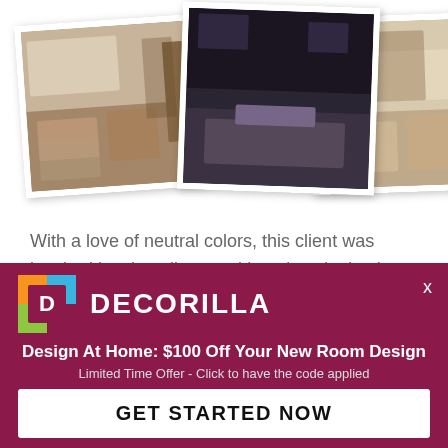[Figure (photo): Collage of three interior design photos showing living rooms and dining areas with neutral tones]
With a love of neutral colors, this client was inspired by clean lines and luxurious looks. It was also important to use designer tricks like utilizing additional lighting for the living room to help give the illusion of a larger space.
THE DESIGN
[Figure (infographic): Decorilla promotional banner with logo, headline 'Design At Home: $100 Off Your New Room Design', subtext 'Limited Time Offer - Click to have the code applied', and CTA button 'GET STARTED NOW']